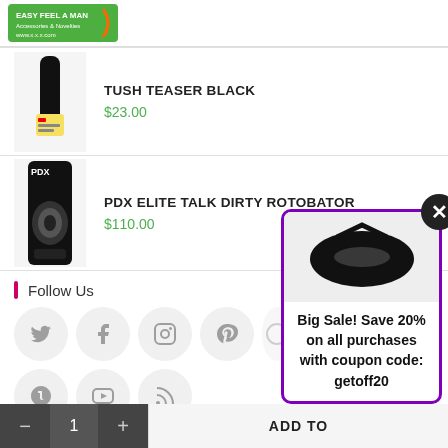[Figure (photo): Partial green product logo/banner at top]
TUSH TEASER BLACK
$23.00
PDX ELITE TALK DIRTY ROTOBATOR
$110.00
Follow Us
[Figure (infographic): Social media icons: Twitter, Facebook, Instagram, Pinterest, Vine, YouTube, RSS]
[Figure (infographic): Popup coupon with lips image. Text: Big Sale! Save 20% on all purchases with coupon code: getoff20]
Big Sale! Save 20% on all purchases with coupon code: getoff20
- 1 + ADD TO